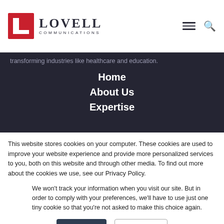Lovell Communications
transforming industries like healthcare and education.
Home
About Us
Expertise
This website stores cookies on your computer. These cookies are used to improve your website experience and provide more personalized services to you, both on this website and through other media. To find out more about the cookies we use, see our Privacy Policy.
We won't track your information when you visit our site. But in order to comply with your preferences, we'll have to use just one tiny cookie so that you're not asked to make this choice again.